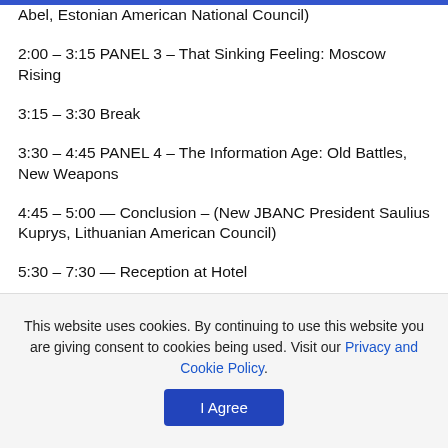Abel, Estonian American National Council)
2:00 – 3:15 PANEL 3 – That Sinking Feeling: Moscow Rising
3:15 – 3:30 Break
3:30 – 4:45 PANEL 4 – The Information Age: Old Battles, New Weapons
4:45 – 5:00 — Conclusion – (New JBANC President Saulius Kuprys, Lithuanian American Council)
5:30 – 7:30 — Reception at Hotel
This website uses cookies. By continuing to use this website you are giving consent to cookies being used. Visit our Privacy and Cookie Policy.